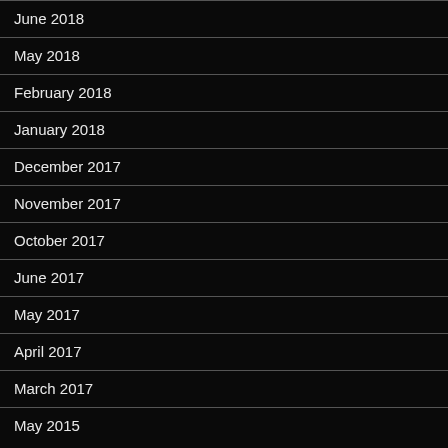June 2018
May 2018
February 2018
January 2018
December 2017
November 2017
October 2017
June 2017
May 2017
April 2017
March 2017
May 2015